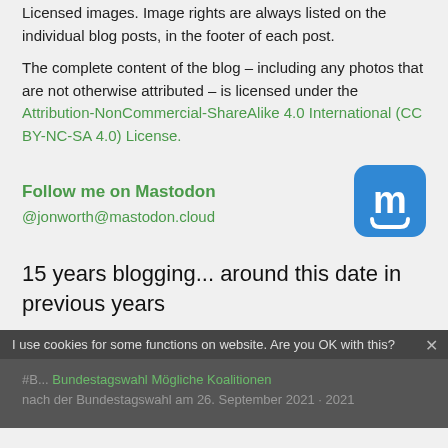This blog makes extensive use of Creative Commons Licensed images. Image rights are always listed on the individual blog posts, in the footer of each post.
The complete content of the blog – including any photos that are not otherwise attributed – is licensed under the Attribution-NonCommercial-ShareAlike 4.0 International (CC BY-NC-SA 4.0) License.
Follow me on Mastodon
@jonworth@mastodon.cloud
[Figure (logo): Mastodon logo — white letter m on blue rounded-square background]
15 years blogging... around this date in previous years
I use cookies for some functions on website. Are you OK with this?
#B... Bundestagswahl... Mögliche Koalitionen nach der Bundestagswahl am 26. September 2021 - 2021...